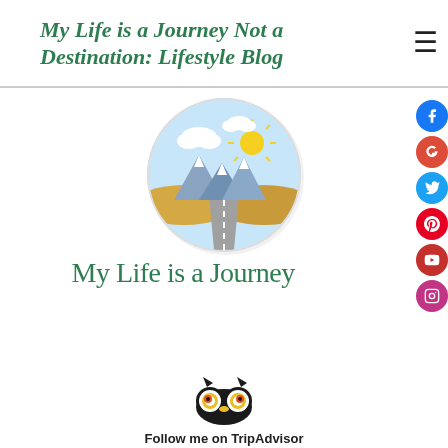My Life is a Journey Not a Destination: Lifestyle Blog
[Figure (logo): Circular illustrated logo showing a road leading to mountains under a sunny sky with clouds, hand-drawn style. Below the circle is the handwritten cursive text 'My Life is a Journey' in green.]
[Figure (logo): TripAdvisor owl logo icon in black and yellow/orange colors, with 'Follow me on TripAdvisor' text below partially visible.]